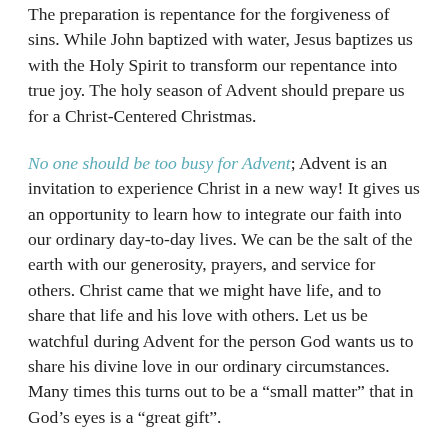The preparation is repentance for the forgiveness of sins. While John baptized with water, Jesus baptizes us with the Holy Spirit to transform our repentance into true joy. The holy season of Advent should prepare us for a Christ-Centered Christmas.
No one should be too busy for Advent; Advent is an invitation to experience Christ in a new way! It gives us an opportunity to learn how to integrate our faith into our ordinary day-to-day lives. We can be the salt of the earth with our generosity, prayers, and service for others. Christ came that we might have life, and to share that life and his love with others. Let us be watchful during Advent for the person God wants us to share his divine love in our ordinary circumstances. Many times this turns out to be a “small matter” that in God’s eyes is a “great gift”.
Meditation: Preparing our hearts for Christ sometimes means